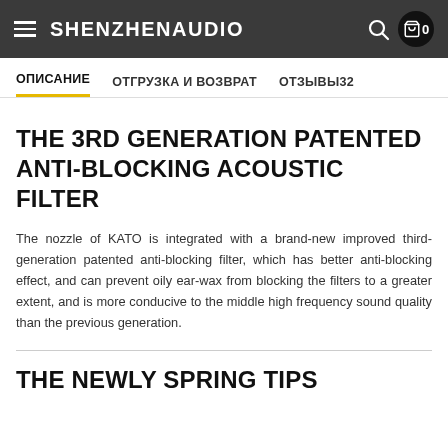SHENZHENAUDIO
ОПИСАНИЕ | ОТГРУЗКА И ВОЗВРАТ | ОТЗЫВЫ32
THE 3RD GENERATION PATENTED ANTI-BLOCKING ACOUSTIC FILTER
The nozzle of KATO is integrated with a brand-new improved third-generation patented anti-blocking filter, which has better anti-blocking effect, and can prevent oily ear-wax from blocking the filters to a greater extent, and is more conducive to the middle high frequency sound quality than the previous generation.
THE NEWLY SPRING TIPS